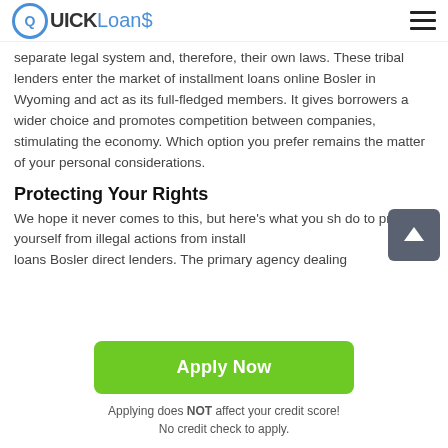QUICK Loans
separate legal system and, therefore, their own laws. These tribal lenders enter the market of installment loans online Bosler in Wyoming and act as its full-fledged members. It gives borrowers a wider choice and promotes competition between companies, stimulating the economy. Which option you prefer remains the matter of your personal considerations.
Protecting Your Rights
We hope it never comes to this, but here’s what you sh... do to protect yourself from illegal actions from install... loans Bosler direct lenders. The primary agency dealing
Apply Now
Applying does NOT affect your credit score!
No credit check to apply.